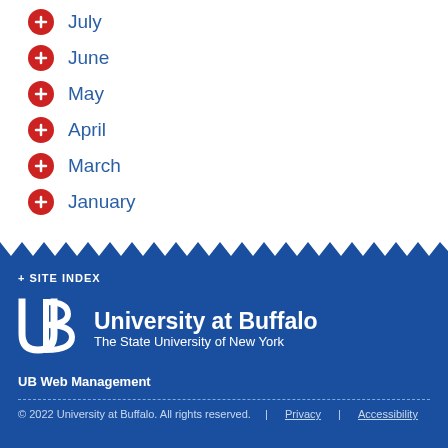July
June
May
April
March
January
+ SITE INDEX
[Figure (logo): University at Buffalo UB logo with text: University at Buffalo The State University of New York]
UB Web Management
© 2022 University at Buffalo. All rights reserved. | Privacy | Accessibility